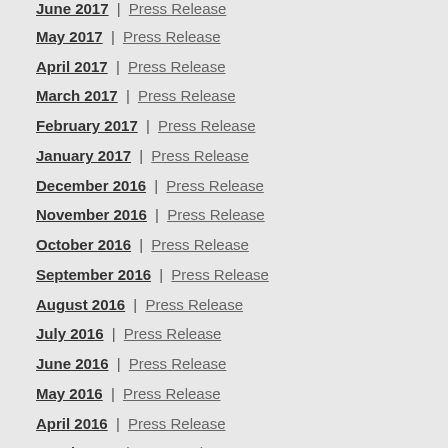June 2017 | Press Release
May 2017 | Press Release
April 2017 | Press Release
March 2017 | Press Release
February 2017 | Press Release
January 2017 | Press Release
December 2016 | Press Release
November 2016 | Press Release
October 2016 | Press Release
September 2016 | Press Release
August 2016 | Press Release
July 2016 | Press Release
June 2016 | Press Release
May 2016 | Press Release
April 2016 | Press Release
March 2016 | Press Release
February 2016 | Press Release
January 2016 | Press Release
December 2015 | Press Release